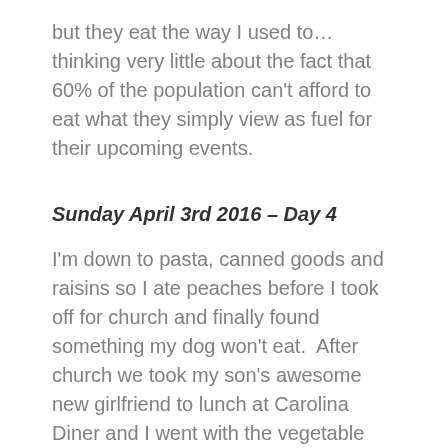but they eat the way I used to… thinking very little about the fact that 60% of the population can't afford to eat what they simply view as fuel for their upcoming events.
Sunday April 3rd 2016 – Day 4
I'm down to pasta, canned goods and raisins so I ate peaches before I took off for church and finally found something my dog won't eat.  After church we took my son's awesome new girlfriend to lunch at Carolina Diner and I went with the vegetable plate.  I figured this was the closest thing to the canned goods I still had on hand.  I ate carrots, corn and,  yes,  once again,  mac and cheese